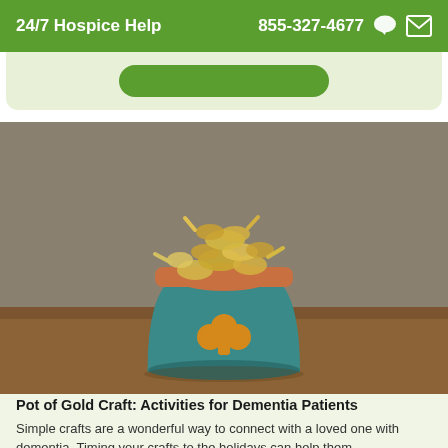24/7 Hospice Help   855-327-4677
[Figure (photo): A teal flower pot decorated with a gold shamrock design, filled with gold-wrapped candies, sitting on a wooden surface against a gray background.]
Pot of Gold Craft: Activities for Dementia Patients
Simple crafts are a wonderful way to connect with a loved one with dementia. Timing your crafts to the holidays can help them